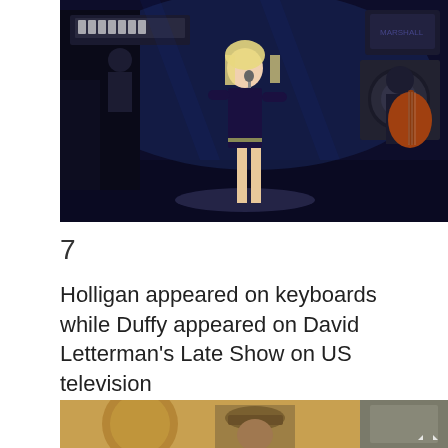[Figure (photo): Concert performance photo showing a female singer in a black off-shoulder mini dress on stage, with a guitarist and band members visible behind her, blue stage lighting]
7
Holligan appeared on keyboards while Duffy appeared on David Letterman's Late Show on US television
[Figure (photo): Partial photo showing a person wearing a cap, warm golden tones, bottom of the page partially cropped]